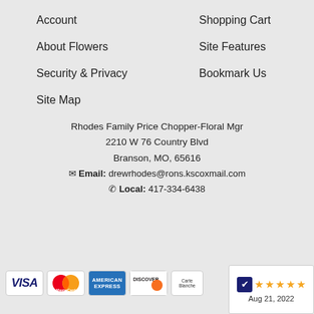Account
Shopping Cart
About Flowers
Site Features
Security & Privacy
Bookmark Us
Site Map
Rhodes Family Price Chopper-Floral Mgr
2210 W 76 Country Blvd
Branson, MO, 65616
Email: drewrhodes@rons.kscoxmail.com
Local: 417-334-6438
[Figure (other): Payment card logos (Visa, MasterCard, American Express, Discover, Carte Blanche) and a 5-star rating badge showing Aug 21, 2022]